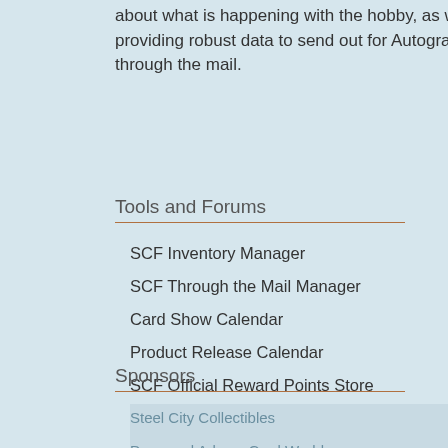about what is happening with the hobby, as well as providing robust data to send out for Autographs through the mail.
Tools and Forums
SCF Inventory Manager
SCF Through the Mail Manager
Card Show Calendar
Product Release Calendar
SCF Official Reward Points Store
Most Watch Cards on eBay
Sponsors
Steel City Collectibles
Dave and Adams Card World